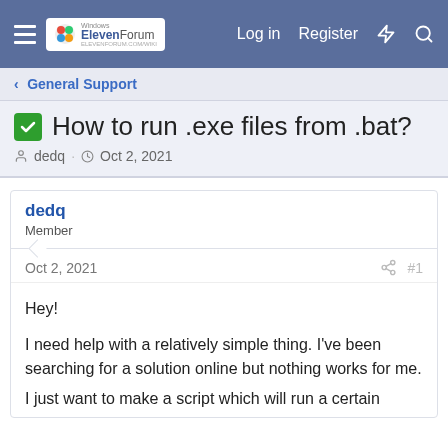Windows ElevenForum | Log in | Register
General Support
How to run .exe files from .bat?
dedq · Oct 2, 2021
dedq
Member
Oct 2, 2021  #1
Hey!

I need help with a relatively simple thing. I've been searching for a solution online but nothing works for me.
I just want to make a script which will run a certain